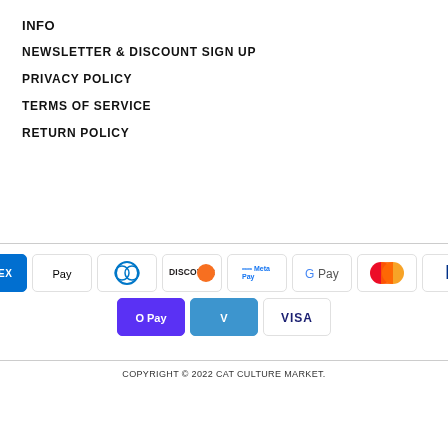INFO
NEWSLETTER & DISCOUNT SIGN UP
PRIVACY POLICY
TERMS OF SERVICE
RETURN POLICY
[Figure (other): Payment method icons: American Express, Apple Pay, Diners Club, Discover, Meta Pay, Google Pay, Mastercard, PayPal, O Pay, Venmo, Visa]
COPYRIGHT © 2022 CAT CULTURE MARKET.